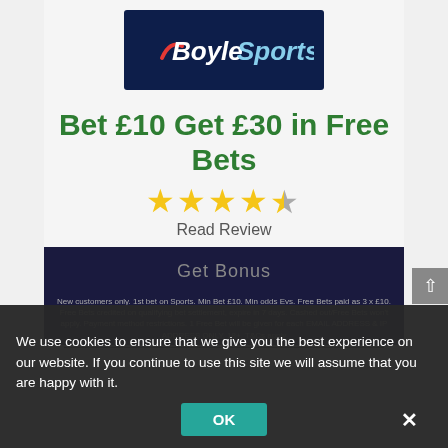[Figure (logo): BoyleSports logo — white italic text on dark navy background with red arc chevron]
Bet £10 Get £30 in Free Bets
[Figure (infographic): 4.5 out of 5 star rating shown as yellow stars]
Read Review
Get Bonus
New customers only. 1st bet on Sports. Min Bet £10. Min odds Evs. Free Bets paid as 3 x £10. Free Bets credited on qualifying bet settlement, expire in 7 days. Cashed out/Free Bets won't apply. Payment method restrictions. 1 Free Bet will be given for each EMAIL ADDRESS & IP ADDRESS ONLY. 18+. T&Cs apply
We use cookies to ensure that we give you the best experience on our website. If you continue to use this site we will assume that you are happy with it.
OK